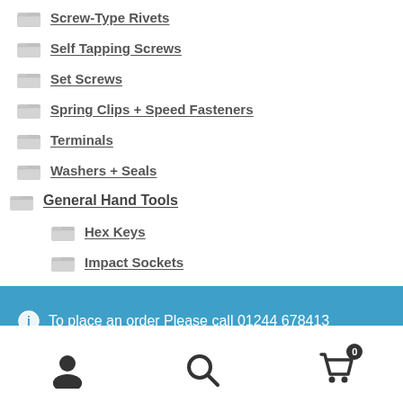Screw-Type Rivets
Self Tapping Screws
Set Screws
Spring Clips + Speed Fasteners
Terminals
Washers + Seals
General Hand Tools
Hex Keys
Impact Sockets
To place an order Please call 01244 678413
Dismiss